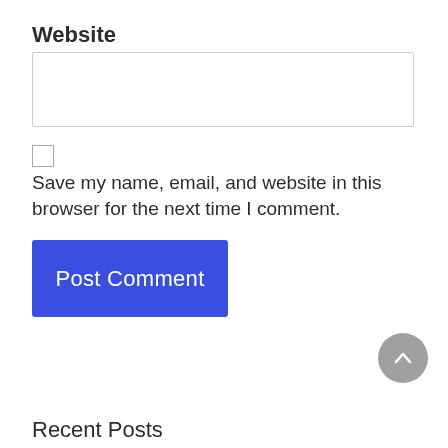Website
[Figure (screenshot): Empty text input field for website URL]
Save my name, email, and website in this browser for the next time I comment.
[Figure (screenshot): Blue Post Comment button]
[Figure (screenshot): Gray scroll-to-top circular button with upward chevron]
Recent Posts